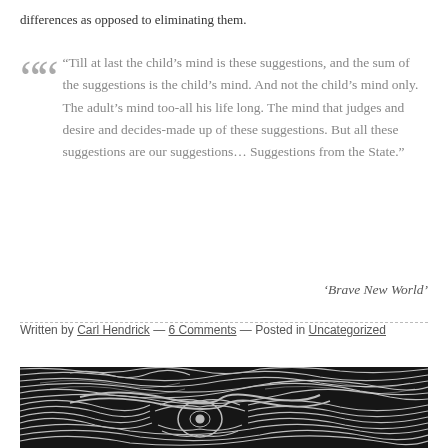differences as opposed to eliminating them.
“Till at last the child’s mind is these suggestions, and the sum of the suggestions is the child’s mind. And not the child’s mind only. The adult’s mind too-all his life long. The mind that judges and desire and decides-made up of these suggestions. But all these suggestions are our suggestions… Suggestions from the State.”
‘Brave New World’
Written by Carl Hendrick — 6 Comments — Posted in Uncategorized
[Figure (illustration): Black and white woodcut-style illustration showing a figure with swirling, expressionistic lines suggesting a distressed or anguished human form]